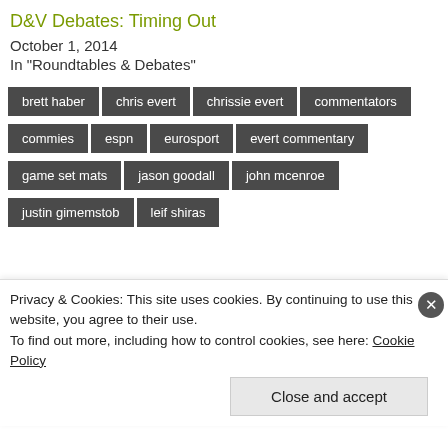D&V Debates: Timing Out
October 1, 2014
In "Roundtables & Debates"
brett haber
chris evert
chrissie evert
commentators
commies
espn
eurosport
evert commentary
game set mats
jason goodall
john mcenroe
justin gimemstob
leif shiras
Privacy & Cookies: This site uses cookies. By continuing to use this website, you agree to their use.
To find out more, including how to control cookies, see here: Cookie Policy
Close and accept